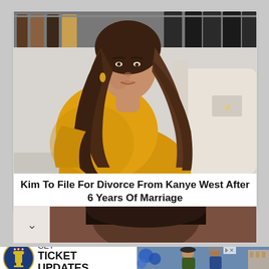[Figure (photo): Photo of a woman with long brown hair wearing a yellow/mustard knit sweater, sitting in front of a clothing rack. Background shows hanging garments and a white/cream chair.]
Kim To File For Divorce From Kanye West After 6 Years Of Marriage
[Figure (photo): Partial photo visible below the first article card — shows top of a person's dark hair, partially obscured.]
[Figure (photo): Advertisement banner for Ryder Cup showing logo and text GET TICKET UPDATES with a photo of golfers in the background.]